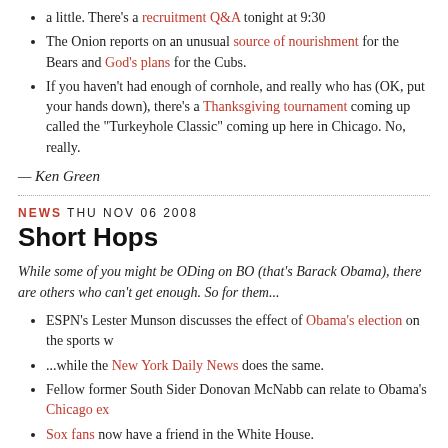a little. There's a recruitment Q&A tonight at 9:30
The Onion reports on an unusual source of nourishment for the Bears and God's plans for the Cubs.
If you haven't had enough of cornhole, and really who has (OK, put your hands down), there's a Thanksgiving tournament coming up called the "Turkeyhole Classic" coming up here in Chicago. No, really.
— Ken Green
NEWS THU NOV 06 2008
Short Hops
While some of you might be ODing on BO (that's Barack Obama), there are others who can't get enough. So for them...
ESPN's Lester Munson discusses the effect of Obama's election on the sports w...
...while the New York Daily News does the same.
Fellow former South Sider Donovan McNabb can relate to Obama's Chicago ex...
Sox fans now have a friend in the White House.
Now that the campaigning is over, it's back to the gym for Obama.
Finally, the Trib's Mike Downey gives a glimpse of Obama's first 100 days.
DePaul offers a four-credit course on the Cubs. Wonder if it's Pass/Fail, Fail, Fa... couldn't help it.)